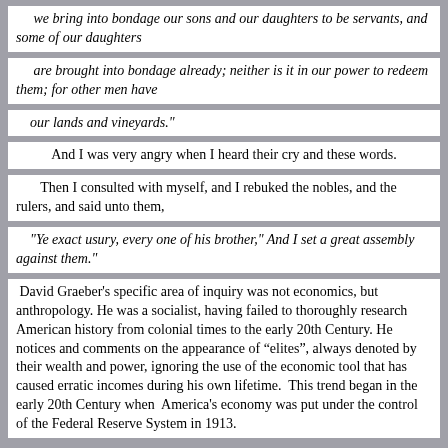we bring into bondage our sons and our daughters to be servants, and some of our daughters
are brought into bondage already; neither is it in our power to redeem them; for other men have
our lands and vineyards."
And I was very angry when I heard their cry and these words.
Then I consulted with myself, and I rebuked the nobles, and the rulers, and said unto them,
"Ye exact usury, every one of his brother," And I set a great assembly against them."
David Graeber's specific area of inquiry was not economics, but anthropology. He was a socialist, having failed to thoroughly research American history from colonial times to the early 20th Century. He notices and comments on the appearance of “elites”, always denoted by their wealth and power, ignoring the use of the economic tool that has caused erratic incomes during his own lifetime.  This trend began in the early 20th Century when  America's economy was put under the control of the Federal Reserve System in 1913.